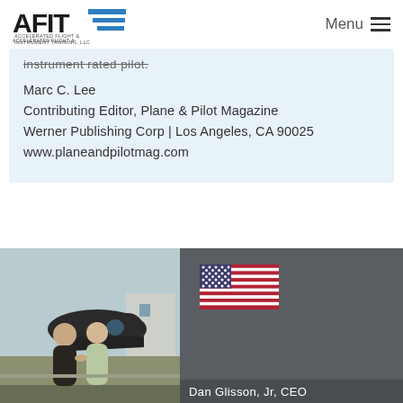AFIT - Accelerated Flight & Instrument Training, LLC | Menu
instrument rated pilot.
Marc C. Lee
Contributing Editor, Plane & Pilot Magazine
Werner Publishing Corp | Los Angeles, CA 90025
www.planeandpilotmag.com
[Figure (photo): Two men shaking hands in front of a small aircraft on a tarmac, outdoors.]
[Figure (illustration): US flag emoji/icon displayed on dark grey background.]
Dan Glisson, Jr, CEO